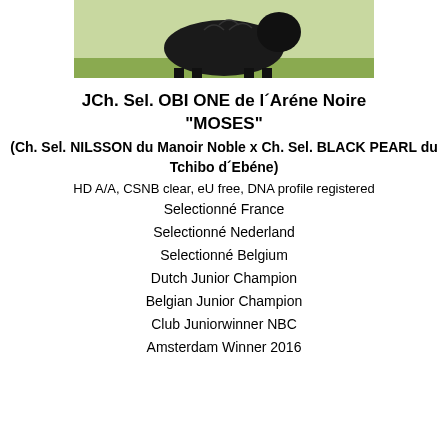[Figure (photo): Black Bouvier des Flandres dog standing on grass]
JCh. Sel. OBI ONE de l´Aréne Noire
"MOSES"
(Ch. Sel. NILSSON du Manoir Noble x Ch. Sel. BLACK PEARL du Tchibo d´Ebéne)
HD A/A, CSNB clear, eU free, DNA profile registered
Selectionné France
Selectionné Nederland
Selectionné Belgium
Dutch Junior Champion
Belgian Junior Champion
Club Juniorwinner NBC
Amsterdam Winner 2016